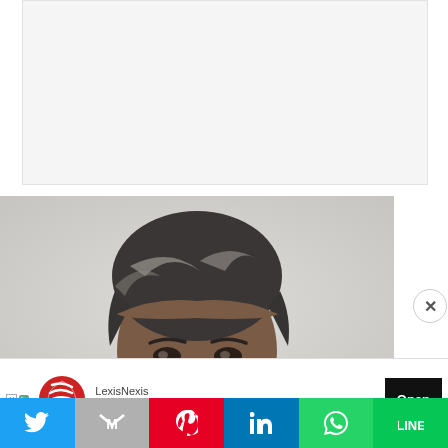[Figure (other): White/light grey empty rectangular area at top of page, possibly a placeholder or ad space]
[Figure (photo): Close-up portrait photo of a middle-aged man with salt-and-pepper hair, showing head and upper shoulders against a light grey background]
[Figure (other): Advertisement banner for LexisNexis with headline 'Track Charitable Giving Trends' and an Open button. Ad attribution icons (X, D) on left.]
[Figure (other): Social sharing toolbar at bottom with icons for Twitter, Gmail/M, Pinterest, LinkedIn, WhatsApp, and LINE]